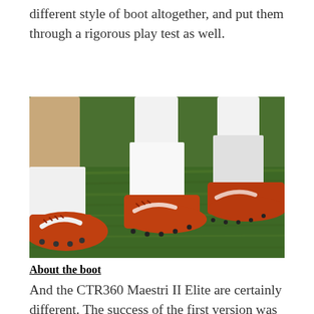different style of boot altogether, and put them through a rigorous play test as well.
[Figure (photo): Close-up photo of soccer players' legs wearing orange/red Nike CTR360 Maestri II Elite football boots with white socks, standing on green grass.]
About the boot
And the CTR360 Maestri II Elite are certainly different. The success of the first version was